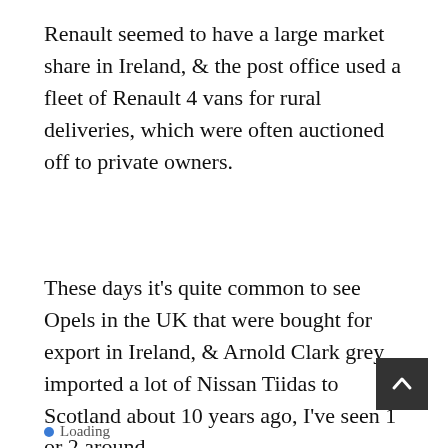Renault seemed to have a large market share in Ireland, & the post office used a fleet of Renault 4 vans for rural deliveries, which were often auctioned off to private owners.
These days it's quite common to see Opels in the UK that were bought for export in Ireland, & Arnold Clark grey imported a lot of Nissan Tiidas to Scotland about 10 years ago, I've seen 1 or 2 around.
Loading